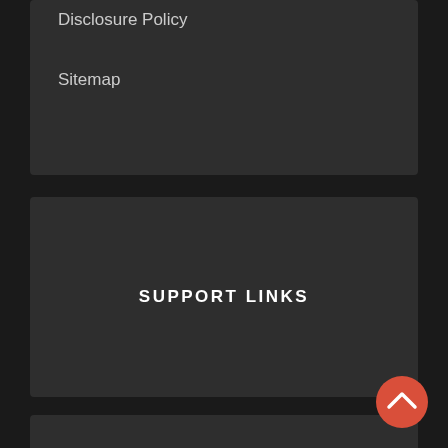Disclosure Policy
Sitemap
SUPPORT LINKS
RECOMMENDED LINKS
[Figure (other): Scroll-to-top button: a red circular button with an upward-pointing chevron/arrow icon]